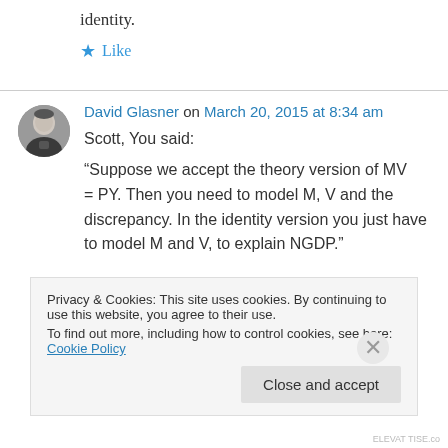identity.
★ Like
David Glasner on March 20, 2015 at 8:34 am
Scott, You said:
“Suppose we accept the theory version of MV = PY. Then you need to model M, V and the discrepancy. In the identity version you just have to model M and V, to explain NGDP.”
Privacy & Cookies: This site uses cookies. By continuing to use this website, you agree to their use.
To find out more, including how to control cookies, see here: Cookie Policy
Close and accept